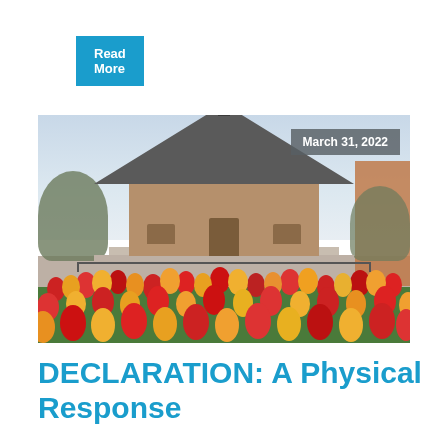Read More
[Figure (photo): Exterior of a brick chapel or university building with a pyramidal roof, steps and railings in front, flanked by trees and a field of red and yellow tulips in the foreground. A date badge reads 'March 31, 2022'.]
DECLARATION: A Physical Response